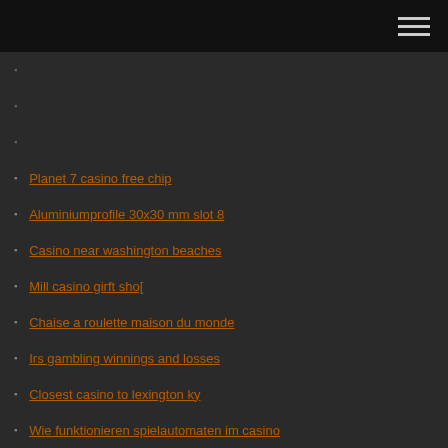Planet 7 casino free chip
Aluminiumprofile 30x30 mm slot 8
Casino near washington beaches
Mill casino girft sho[
Chaise a roulette maison du monde
Irs gambling winnings and losses
Closest casino to lexington ky
Wie funktionieren spielautomaten im casino
Skinny dugans casino & lounge
Cash register practice game
Los angeles poker classic 2019